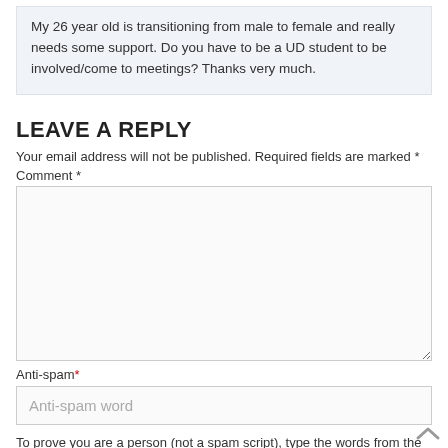My 26 year old is transitioning from male to female and really needs some support. Do you have to be a UD student to be involved/come to meetings? Thanks very much.
LEAVE A REPLY
Your email address will not be published. Required fields are marked *
Comment *
Anti-spam*
Anti-spam word
To prove you are a person (not a spam script), type the words from the following picture or audio file.